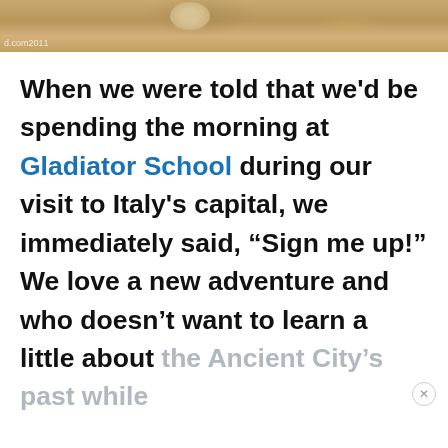[Figure (photo): Sandy/stone ground texture photo strip at top of page with watermark text 'd.com2011']
When we were told that we'd be spending the morning at Gladiator School during our visit to Italy's capital, we immediately said, “Sign me up!”  We love a new adventure and who doesn't want to learn a little about the Ancient City's past while